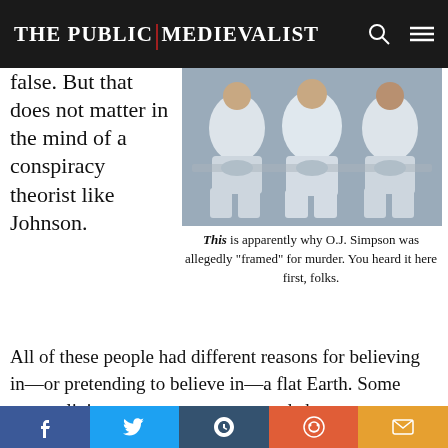The Public Medievalist
false. But that does not matter in the mind of a conspiracy theorist like Johnson.
[Figure (photo): Three people seated wearing white suits/uniforms]
This is apparently why O.J. Simpson was allegedly “framed” for murder. You heard it here first, folks.
All of these people had different reasons for believing in—or pretending to believe in—a flat Earth. Some were religious, some were concerned about government overreach, and some were flat-out cons. But their beliefs spread and persisted,
f  t  t  reddit  mail